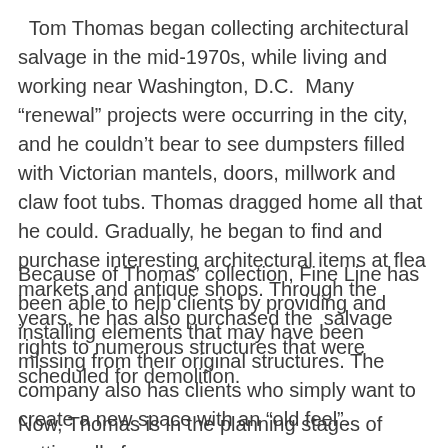Tom Thomas began collecting architectural salvage in the mid-1970s, while living and working near Washington, D.C. Many “renewal” projects were occurring in the city, and he couldn’t bear to see dumpsters filled with Victorian mantels, doors, millwork and claw foot tubs. Thomas dragged home all that he could. Gradually, he began to find and purchase interesting architectural items at flea markets and antique shops. Through the years, he has also purchased the salvage rights to numerous structures that were scheduled for demolition.
Because of Thomas’ collection, Fine Line has been able to help clients by providing and installing elements that may have been missing from their original structures. The company also has clients who simply want to create a new space with an “old feel”.
Now, Thomas is in the planning stages of getting all of